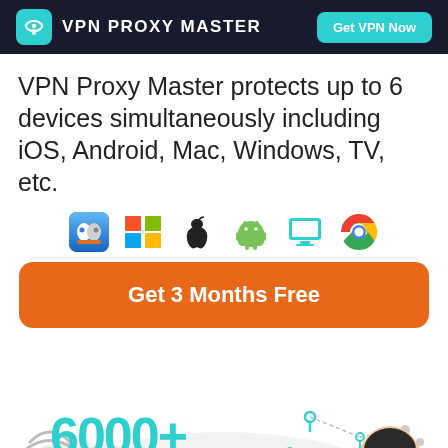VPN PROXY MASTER | Get VPN Now
VPN Proxy Master protects up to 6 devices simultaneously including iOS, Android, Mac, Windows, TV, etc.
[Figure (illustration): Row of 6 platform icons: Finder (Mac), Windows, Apple, Android, Desktop monitor, Chrome]
[Figure (illustration): Orange button with text: Get 3 Months Free]
[Figure (infographic): Globe/map illustration with 6000+ Locations label and a character illustration]